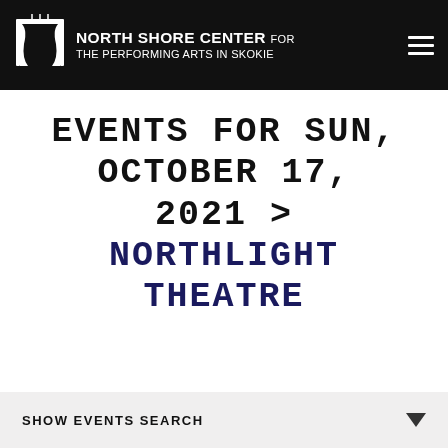NORTH SHORE CENTER FOR THE PERFORMING ARTS IN SKOKIE
EVENTS FOR SUN, OCTOBER 17, 2021 > NORTHLIGHT THEATRE
SHOW EVENTS SEARCH